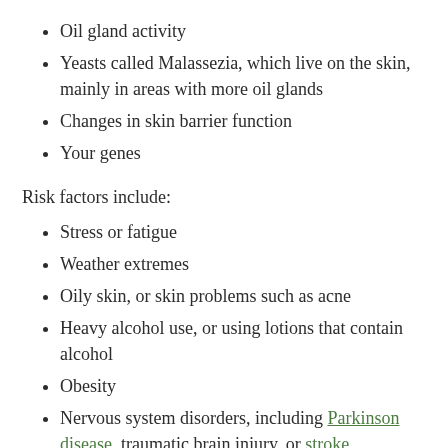Oil gland activity
Yeasts called Malassezia, which live on the skin, mainly in areas with more oil glands
Changes in skin barrier function
Your genes
Risk factors include:
Stress or fatigue
Weather extremes
Oily skin, or skin problems such as acne
Heavy alcohol use, or using lotions that contain alcohol
Obesity
Nervous system disorders, including Parkinson disease, traumatic brain injury, or stroke